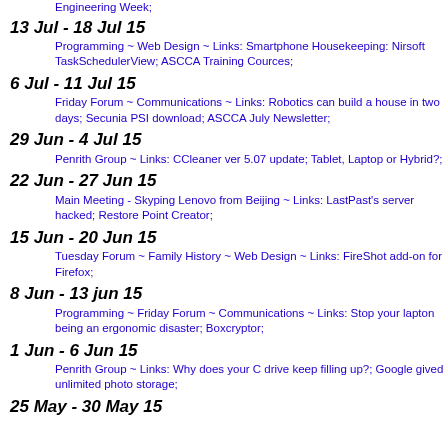Engineering Week;
13 Jul - 18 Jul 15
Programming ~ Web Design ~ Links: Smartphone Housekeeping: Nirsoft TaskSchedulerView; ASCCA Training Cources;
6 Jul - 11 Jul 15
Friday Forum ~ Communications ~ Links: Robotics can build a house in two days; Secunia PSI download; ASCCA July Newsletter;
29 Jun - 4 Jul 15
Penrith Group ~ Links: CCleaner ver 5.07 update; Tablet, Laptop or Hybrid?;
22 Jun - 27 Jun 15
Main Meeting - Skyping Lenovo from Beijing ~ Links: LastPast's server hacked; Restore Point Creator;
15 Jun - 20 Jun 15
Tuesday Forum ~ Family History ~ Web Design ~ Links: FireShot add-on for Firefox;
8 Jun - 13 jun 15
Programming ~ Friday Forum ~ Communications ~ Links: Stop your lapton being an ergonomic disaster; Boxcryptor;
1 Jun - 6 Jun 15
Penrith Group ~ Links: Why does your C drive keep filling up?; Google gived unlimited photo storage;
25 May - 30 May 15